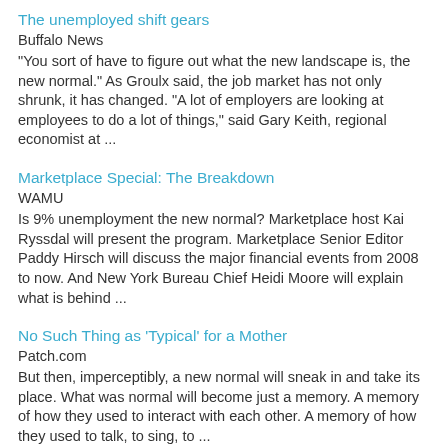The unemployed shift gears
Buffalo News
"You sort of have to figure out what the new landscape is, the new normal." As Groulx said, the job market has not only shrunk, it has changed. "A lot of employers are looking at employees to do a lot of things," said Gary Keith, regional economist at ...
Marketplace Special: The Breakdown
WAMU
Is 9% unemployment the new normal? Marketplace host Kai Ryssdal will present the program. Marketplace Senior Editor Paddy Hirsch will discuss the major financial events from 2008 to now. And New York Bureau Chief Heidi Moore will explain what is behind ...
No Such Thing as 'Typical' for a Mother
Patch.com
But then, imperceptibly, a new normal will sneak in and take its place. What was normal will become just a memory. A memory of how they used to interact with each other. A memory of how they used to talk, to sing, to ...